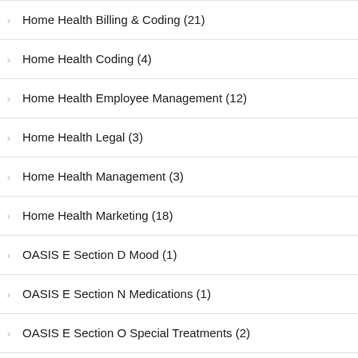Home Health Billing & Coding (21)
Home Health Coding (4)
Home Health Employee Management (12)
Home Health Legal (3)
Home Health Management (3)
Home Health Marketing (18)
OASIS E Section D Mood (1)
OASIS E Section N Medications (1)
OASIS E Section O Special Treatments (2)
OASIS E: Nutritional Approaches (1)
OASIS E: Section C Cognitive Patterns (2)
OASIS GG0100 Prior Functioning (3)
OASIS GG0130A Oral Hygiene (1)